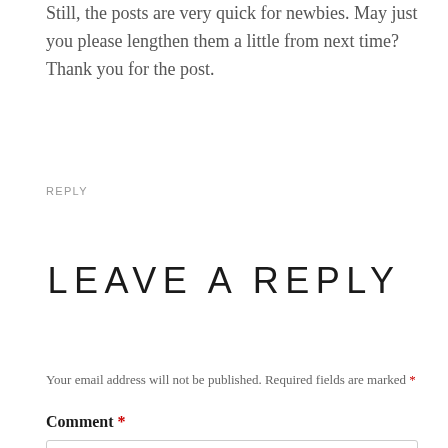Still, the posts are very quick for newbies. May just you please lengthen them a little from next time? Thank you for the post.
REPLY
LEAVE A REPLY
Your email address will not be published. Required fields are marked *
Comment *